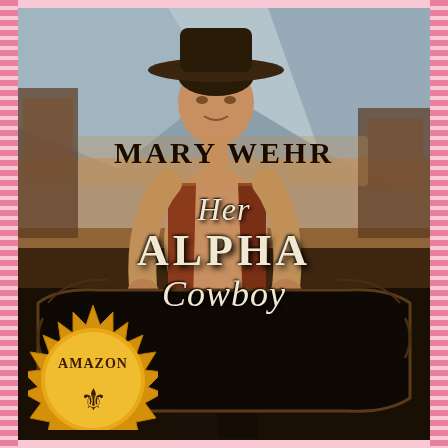[Figure (illustration): Book cover for 'Her Alpha Cowboy' by Mary Wehr. Features a shirtless male cowboy wearing a hat and brown leather vest, standing in front of a Western town background. The title is displayed on an ornate black decorative banner in the lower portion. An Amazon bestseller gold seal badge is visible in the lower left corner. The cover has a pink decorative border on the left and right sides.]